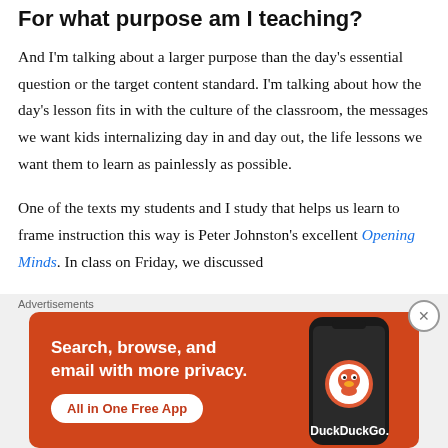For what purpose am I teaching?
And I'm talking about a larger purpose than the day's essential question or the target content standard. I'm talking about how the day's lesson fits in with the culture of the classroom, the messages we want kids internalizing day in and day out, the life lessons we want them to learn as painlessly as possible.
One of the texts my students and I study that helps us learn to frame instruction this way is Peter Johnston's excellent Opening Minds. In class on Friday, we discussed Johnston's observations (p. 100-104) about…
[Figure (screenshot): DuckDuckGo advertisement banner with orange background. Text: 'Search, browse, and email with more privacy. All in One Free App'. Shows a stylized smartphone with the DuckDuckGo logo and brand name.]